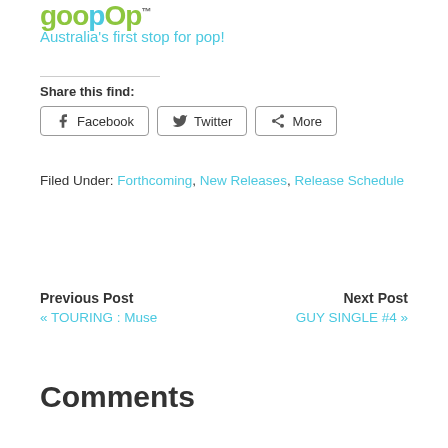[Figure (logo): GoodPop logo in green/teal colors with trademark symbol]
Australia's first stop for pop!
Share this find:
Facebook  Twitter  More
Filed Under: Forthcoming, New Releases, Release Schedule
Previous Post
« TOURING : Muse
Next Post
GUY SINGLE #4 »
Comments